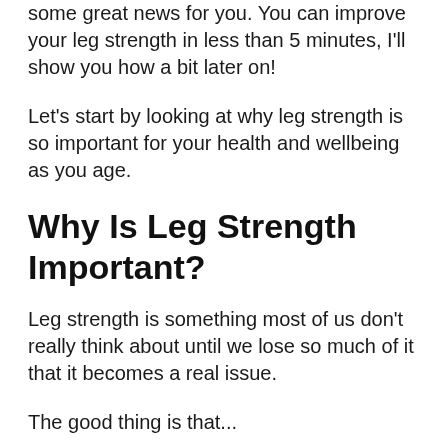some great news for you. You can improve your leg strength in less than 5 minutes, I'll show you how a bit later on!
Let's start by looking at why leg strength is so important for your health and wellbeing as you age.
Why Is Leg Strength Important?
Leg strength is something most of us don't really think about until we lose so much of it that it becomes a real issue.
The good thing is that...